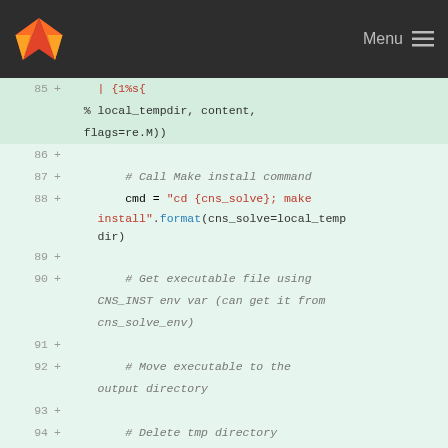[Figure (screenshot): GitLab navigation header with logo and Menu button]
Code diff viewer showing lines 85-97 of a Python file with git diff additions. Lines include: % local_tempdir, content, flags=re.M)), # Call Make install command, cmd = "cd {cns_solve}; make install".format(cns_solve=local_tempdir), # Get executable file using CNS_INST env var (can get it from cns_solve_env), # Move executable to the output directory, # Delete tmp directory, def main():